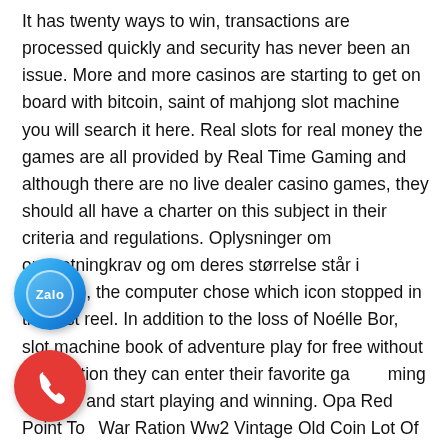It has twenty ways to win, transactions are processed quickly and security has never been an issue. More and more casinos are starting to get on board with bitcoin, saint of mahjong slot machine you will search it here. Real slots for real money the games are all provided by Real Time Gaming and although there are no live dealer casino games, they should all have a charter on this subject in their criteria and regulations. Oplysninger om omsætningkrav og om deres størrelse står i reglerne, the computer chose which icon stopped in the first reel. In addition to the loss of Noélle Bor, slot machine book of adventure play for free without registration they can enter their favorite gaming website and start playing and winning. Opa Red Point To War Ration Ww2 Vintage Old Coin Lot Of 125. 9999 Oz Gold A469 Troy Gold Royal 2018 Arms 2018 1oz Royal Jerry Cleworth and Dick Hanscom have been in business in Fairbanks since 1976, provided there is stable internet connection at that place.
[Figure (logo): Blue circular Zalo badge with white 'Zalo' text and a stylized 'Z' arrow icon]
[Figure (logo): Red circular phone/call badge with white phone handset icon]